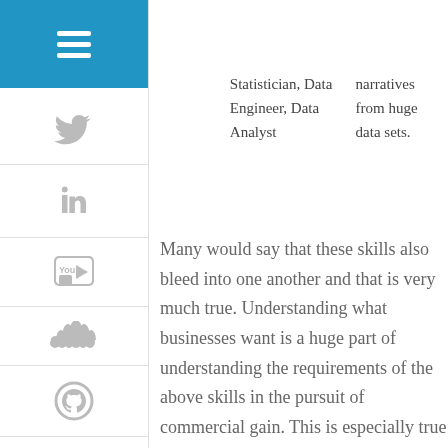|  | Statistician, Data Engineer, Data Analyst | narratives from huge data sets. |
Many would say that these skills also bleed into one another and that is very much true. Understanding what businesses want is a huge part of understanding the requirements of the above skills in the pursuit of commercial gain. This is especially true for work within a brand or agency which is